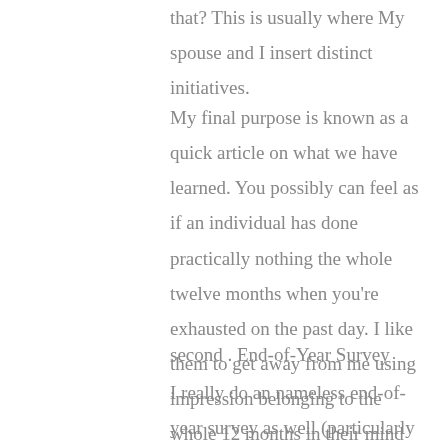that? This is usually where My spouse and I insert distinct initiatives.
My final purpose is known as a quick article on what we have learned. You possibly can feel as if an individual has done practically nothing the whole twelve months when you're exhausted on the past day. I like them to get away from me using impression belonging to the whole 12 months in their mind so they (and I) usually are positive around the effort we have put in since September.
second . End-of-Year Survey
I really do an nameless end-of-year survey as well (particularly if a group was reticent in the focus group time). You could adapt this in